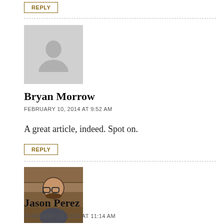REPLY
Bryan Morrow
FEBRUARY 10, 2014 AT 9:52 AM
A great article, indeed. Spot on.
REPLY
[Figure (photo): Avatar photo of Jason Perez, a man with glasses]
Jason Perez
FEBRUARY 10, 2014 AT 11:14 AM